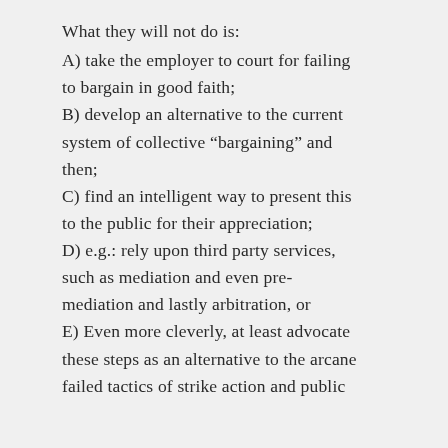What they will not do is:
A) take the employer to court for failing to bargain in good faith;
B) develop an alternative to the current system of collective “bargaining” and then;
C) find an intelligent way to present this to the public for their appreciation;
D) e.g.: rely upon third party services, such as mediation and even pre-mediation and lastly arbitration, or
E) Even more cleverly, at least advocate these steps as an alternative to the arcane failed tactics of strike action and public